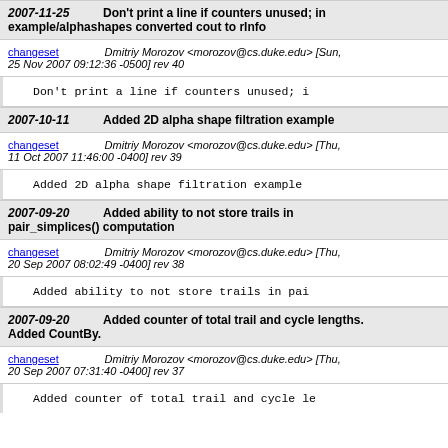2007-11-25   Don't print a line if counters unused; in example/alphashapes converted cout to rInfo
changeset   Dmitriy Morozov <morozov@cs.duke.edu> [Sun, 25 Nov 2007 09:12:36 -0500] rev 40
Don't print a line if counters unused; i
2007-10-11   Added 2D alpha shape filtration example
changeset   Dmitriy Morozov <morozov@cs.duke.edu> [Thu, 11 Oct 2007 11:46:00 -0400] rev 39
Added 2D alpha shape filtration example
2007-09-20   Added ability to not store trails in pair_simplices() computation
changeset   Dmitriy Morozov <morozov@cs.duke.edu> [Thu, 20 Sep 2007 08:02:49 -0400] rev 38
Added ability to not store trails in pai
2007-09-20   Added counter of total trail and cycle lengths. Added CountBy.
changeset   Dmitriy Morozov <morozov@cs.duke.edu> [Thu, 20 Sep 2007 07:31:40 -0400] rev 37